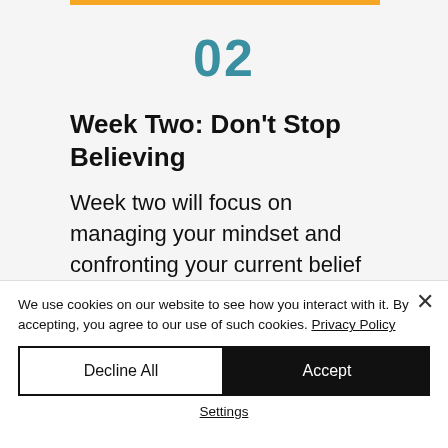02
Week Two: Don't Stop Believing
Week two will focus on managing your mindset and confronting your current belief system. In
We use cookies on our website to see how you interact with it. By accepting, you agree to our use of such cookies. Privacy Policy
Decline All
Accept
Settings